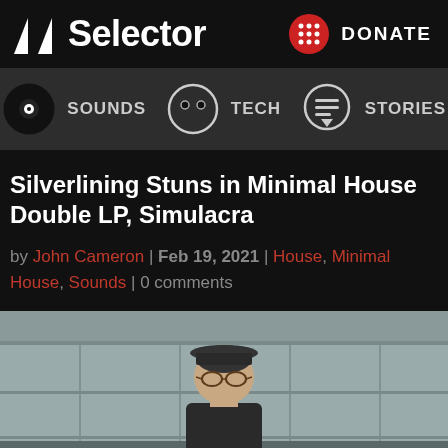Selector — DONATE
SOUNDS | TECH | STORIES
Silverlining Stuns in Minimal House Double LP, Simulacra
by John Cameron | Feb 19, 2021 | House, Minimal House, Sounds | 0 comments
[Figure (photo): Portrait photo of a man wearing a flat cap and glasses, photographed outdoors in front of a concrete/stone structure]